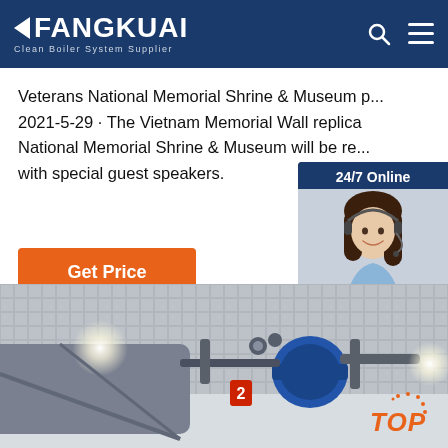FANGKUAI | Clean Boiler System Supplier
Veterans National Memorial Shrine & Museum p... 2021-5-29 · The Vietnam Memorial Wall replica National Memorial Shrine & Museum will be re... with special guest speakers.
Get Price
[Figure (photo): Customer service agent (woman with headset) with 24/7 Online label and Click here for free chat / QUOTATION button panel]
[Figure (photo): Industrial boiler system photograph showing boiler equipment in a facility]